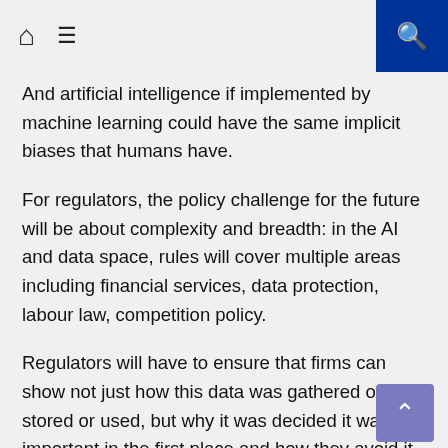Home | Menu | Search
And artificial intelligence if implemented by machine learning could have the same implicit biases that humans have.
For regulators, the policy challenge for the future will be about complexity and breadth: in the AI and data space, rules will cover multiple areas including financial services, data protection, labour law, competition policy.
Regulators will have to ensure that firms can show not just how this data was gathered or stored or used, but why it was decided it was important in the first place and how they avoid it being used to discriminate against minorities and people with other protected characteristics.
That's why we have to create diversity of thought in our organisations…